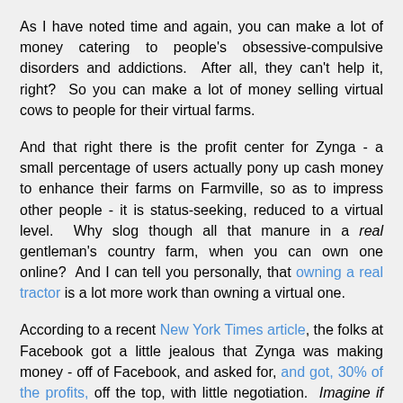As I have noted time and again, you can make a lot of money catering to people's obsessive-compulsive disorders and addictions. After all, they can't help it, right? So you can make a lot of money selling virtual cows to people for their virtual farms.
And that right there is the profit center for Zynga - a small percentage of users actually pony up cash money to enhance their farms on Farmville, so as to impress other people - it is status-seeking, reduced to a virtual level. Why slog though all that manure in a real gentleman's country farm, when you can own one online? And I can tell you personally, that owning a real tractor is a lot more work than owning a virtual one.
According to a recent New York Times article, the folks at Facebook got a little jealous that Zynga was making money - off of Facebook, and asked for, and got, 30% of the profits, off the top, with little negotiation. Imagine if they negotiated!
And the Zynga IPO admits that it is entirely dependent and